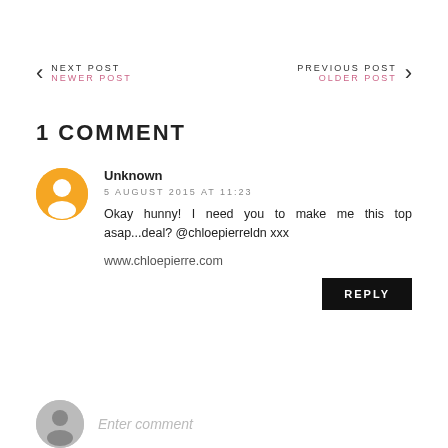NEXT POST / NEWER POST
PREVIOUS POST / OLDER POST
1 COMMENT
Unknown
5 AUGUST 2015 AT 11:23
Okay hunny! I need you to make me this top asap...deal? @chloepierreldn xxx
www.chloepierre.com
REPLY
Enter comment